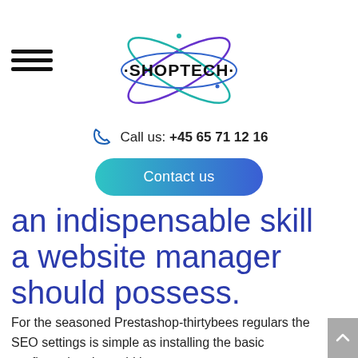[Figure (logo): Shoptech logo with orbital ellipses around the SHOPTECH wordmark]
Call us: +45 65 71 12 16
Contact us
an indispensable skill a website manager should possess.
For the seasoned Prestashop-thirtybees regulars the SEO settings is simple as installing the basic configuration. It would be